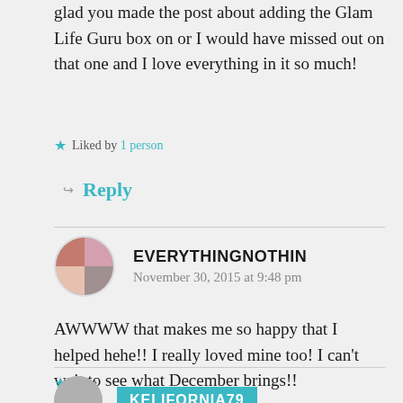glad you made the post about adding the Glam Life Guru box on or I would have missed out on that one and I love everything in it so much!
Liked by 1 person
Reply
EVERYTHINGNOTHIN
November 30, 2015 at 9:48 pm
AWWWW that makes me so happy that I helped hehe!! I really loved mine too! I can't wait to see what December brings!!
Like
KELIFORNIA79